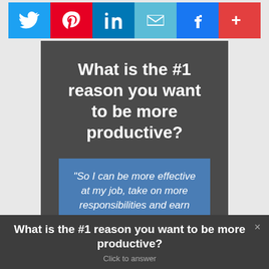[Figure (infographic): Social sharing buttons row: Twitter (blue), Pinterest (red), LinkedIn (dark blue), Email (light blue), Facebook (blue), More/Add (red-pink)]
What is the #1 reason you want to be more productive?
"So I can be more effective at my job, take on more responsibilities and earn more"
"So I can be more effective in my business and grow more"
What is the #1 reason you want to be more productive?
Click to answer